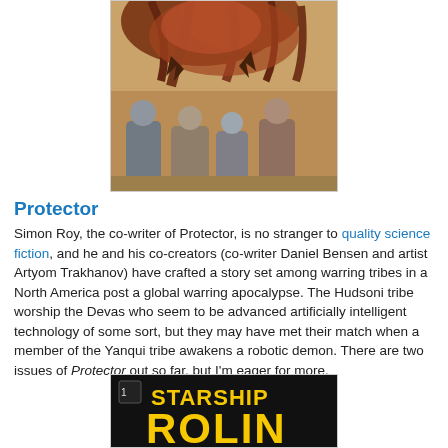[Figure (illustration): Comic book cover art showing figures looking up at a monster/creature with tentacles or branches in an action scene with dramatic coloring]
Protector
Simon Roy, the co-writer of Protector, is no stranger to quality science fiction, and he and his co-creators (co-writer Daniel Bensen and artist Artyom Trakhanov) have crafted a story set among warring tribes in a North America post a global warring apocalypse. The Hudsoni tribe worship the Devas who seem to be advanced artificially intelligent technology of some sort, but they may have met their match when a member of the Yanqui tribe awakens a robotic demon. There are two issues of Protector out so far, but I'm eager for more.
[Figure (illustration): Comic book cover showing 'Starship Rolin' text in yellow on black background, partially visible at bottom of page]